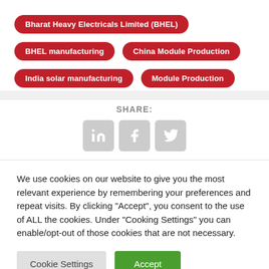Bharat Heavy Electricals Limited (BHEL)
BHEL manufacturing
China Module Production
India solar manufacturing
Module Production
SHARE:
[Figure (other): Social share icons: LinkedIn, Facebook, Twitter]
We use cookies on our website to give you the most relevant experience by remembering your preferences and repeat visits. By clicking “Accept”, you consent to the use of ALL the cookies. Under “Cooking Settings” you can enable/opt-out of those cookies that are not necessary.
Cookie Settings | Accept